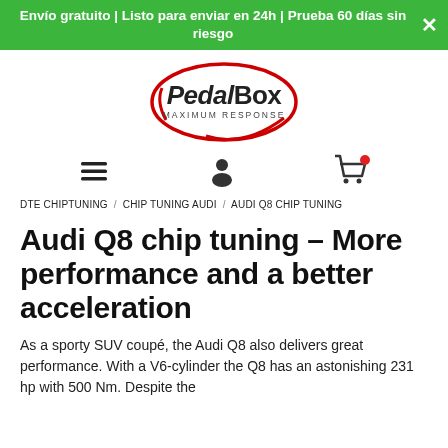Envío gratuito | Listo para enviar en 24h | Prueba 60 días sin riesgo
[Figure (logo): PedalBox Maximum Response logo — red oval with black bold text PedalBox and smaller MAXIMUM RESPONSE below]
[Figure (infographic): Navigation icons: hamburger menu, user profile icon, shopping cart with red badge]
DTE CHIPTUNING / CHIP TUNING AUDI / AUDI Q8 CHIP TUNING
Audi Q8 chip tuning – More performance and a better acceleration
As a sporty SUV coupé, the Audi Q8 also delivers great performance. With a V6-cylinder the Q8 has an astonishing 231 hp with 500 Nm. Despite the